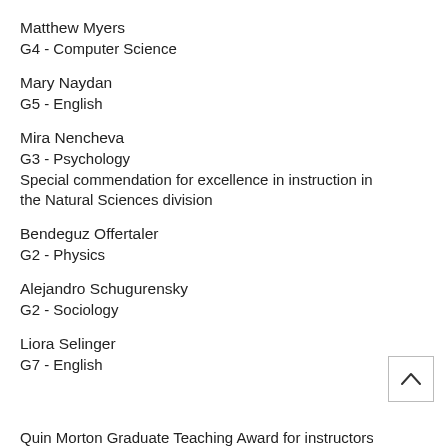Matthew Myers
G4 - Computer Science
Mary Naydan
G5 - English
Mira Nencheva
G3 - Psychology
Special commendation for excellence in instruction in the Natural Sciences division
Bendeguz Offertaler
G2 - Physics
Alejandro Schugurensky
G2 - Sociology
Liora Selinger
G7 - English
Quin Morton Graduate Teaching Award for instructors in